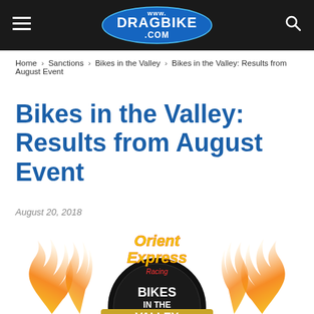www.DRAGBIKE.COM
Home › Sanctions › Bikes in the Valley › Bikes in the Valley: Results from August Event
Bikes in the Valley: Results from August Event
August 20, 2018
[Figure (logo): Orient Express Racing – Bikes in the Valley event logo with flames and motorcycle wheel graphic]